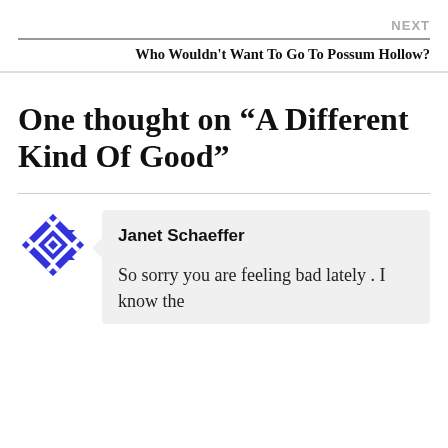NEXT
Who Wouldn't Want To Go To Possum Hollow?
One thought on “A Different Kind Of Good”
Janet Schaeffer
So sorry you are feeling bad lately . I know the